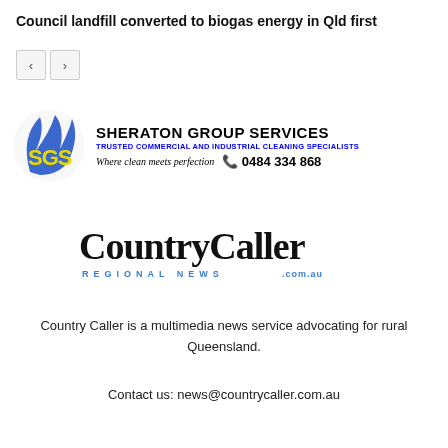Council landfill converted to biogas energy in Qld first
[Figure (logo): Navigation previous/next buttons]
[Figure (logo): Sheraton Group Services advertisement banner with SGS logo, company name, tagline 'TRUSTED COMMERCIAL AND INDUSTRIAL CLEANING SPECIALISTS', slogan 'Where clean meets perfection', phone number 0484 334 868]
[Figure (logo): Country Caller Regional News .com.au logo in blackletter/Old English style with blue 'REGIONAL NEWS' text]
Country Caller is a multimedia news service advocating for rural Queensland.
Contact us: news@countrycaller.com.au